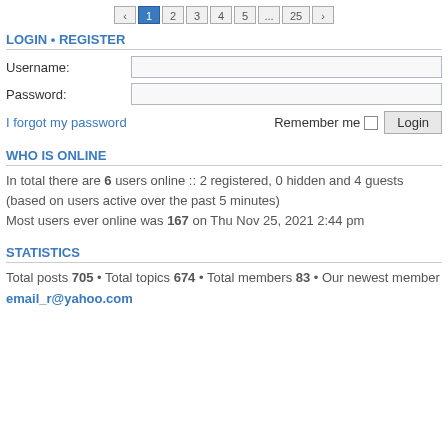[Figure (other): Pagination bar with buttons: previous, 1 (active/blue), 2, 3, 4, 5, ..., 25, next]
LOGIN • REGISTER
Username:
Password:
I forgot my password    Remember me  [checkbox]  Login
WHO IS ONLINE
In total there are 6 users online :: 2 registered, 0 hidden and 4 guests (based on users active over the past 5 minutes)
Most users ever online was 167 on Thu Nov 25, 2021 2:44 pm
STATISTICS
Total posts 705 • Total topics 674 • Total members 83 • Our newest member email_r@yahoo.com